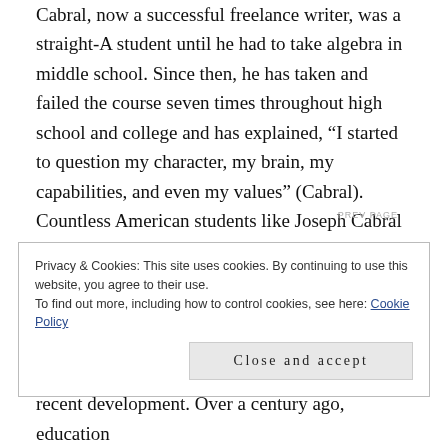Cabral, now a successful freelance writer, was a straight-A student until he had to take algebra in middle school. Since then, he has taken and failed the course seven times throughout high school and college and has explained, “I started to question my character, my brain, my capabilities, and even my values” (Cabral). Countless American students like Joseph Cabral are struggling so much with math that they feel like failures, have limited career options, and hate the subject of mathematics.
Privacy & Cookies: This site uses cookies. By continuing to use this website, you agree to their use.
To find out more, including how to control cookies, see here: Cookie Policy
Close and accept
recent development. Over a century ago, education